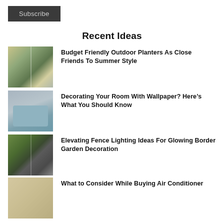Subscribe
Recent Ideas
Budget Friendly Outdoor Planters As Close Friends To Summer Style
Decorating Your Room With Wallpaper? Here's What You Should Know
Elevating Fence Lighting Ideas For Glowing Border Garden Decoration
What to Consider While Buying Air Conditioner